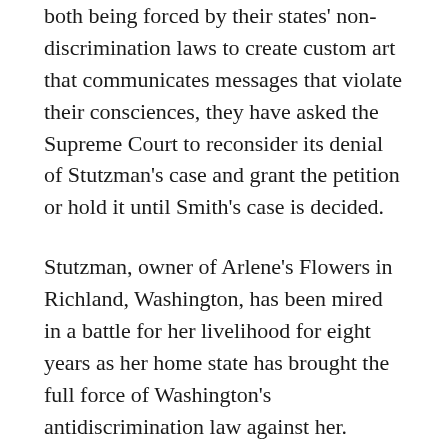both being forced by their states' non-discrimination laws to create custom art that communicates messages that violate their consciences, they have asked the Supreme Court to reconsider its denial of Stutzman's case and grant the petition or hold it until Smith's case is decided.
Stutzman, owner of Arlene's Flowers in Richland, Washington, has been mired in a battle for her livelihood for eight years as her home state has brought the full force of Washington's antidiscrimination law against her.
The wife, mother, grandmother and floral artist has been fighting legal battles against the American Civil Liberties Union (ALCU) and the State of Washington